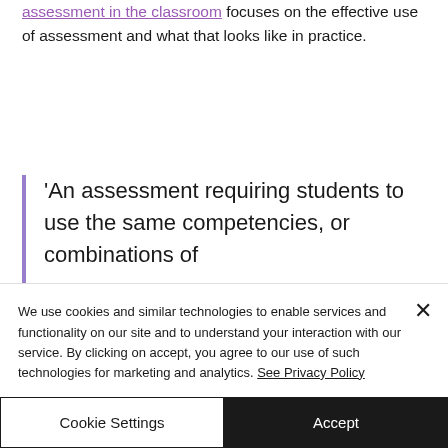assessment in the classroom focuses on the effective use of assessment and what that looks like in practice.
'An assessment requiring students to use the same competencies, or combinations of
We use cookies and similar technologies to enable services and functionality on our site and to understand your interaction with our service. By clicking on accept, you agree to our use of such technologies for marketing and analytics. See Privacy Policy